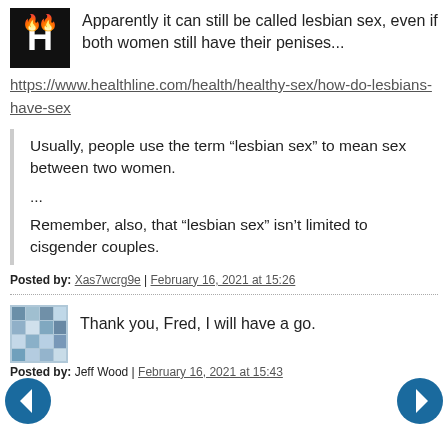Apparently it can still be called lesbian sex, even if both women still have their penises...
https://www.healthline.com/health/healthy-sex/how-do-lesbians-have-sex
Usually, people use the term “lesbian sex” to mean sex between two women.

...

Remember, also, that “lesbian sex” isn’t limited to cisgender couples.
Posted by: Xas7wcrg9e | February 16, 2021 at 15:26
Thank you, Fred, I will have a go.
Posted by: Jeff Wood | February 16, 2021 at 15:43